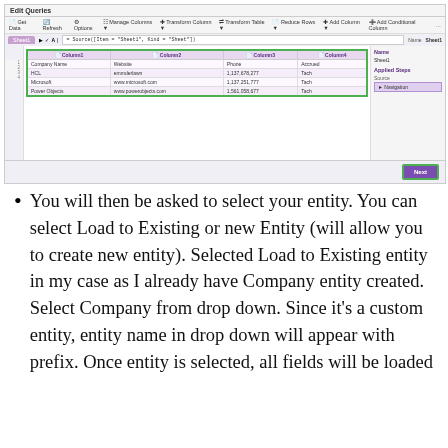[Figure (screenshot): Power Query Editor screenshot showing 'Edit Queries' window with a data table containing columns: Column1 (Company Name), Column2 (Website), Column3 (Amount), Column4 (Accrued). Rows include HCL, Microsoft, and Power Objects. Right panel shows Name: Sheet1 and Applied Steps: Source, Navigation. A purple 'Next' button is in the bottom-right corner with a green border.]
You will then be asked to select your entity. You can select Load to Existing or new Entity (will allow you to create new entity). Selected Load to Existing entity in my case as I already have Company entity created. Select Company from drop down. Since it’s a custom entity, entity name in drop down will appear with prefix. Once entity is selected, all fields will be loaded